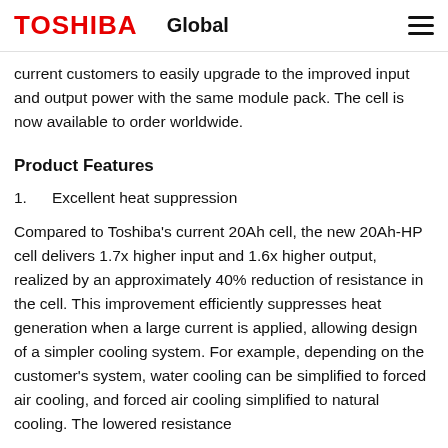TOSHIBA Global
current customers to easily upgrade to the improved input and output power with the same module pack. The cell is now available to order worldwide.
Product Features
1. Excellent heat suppression
Compared to Toshiba's current 20Ah cell, the new 20Ah-HP cell delivers 1.7x higher input and 1.6x higher output, realized by an approximately 40% reduction of resistance in the cell. This improvement efficiently suppresses heat generation when a large current is applied, allowing design of a simpler cooling system. For example, depending on the customer's system, water cooling can be simplified to forced air cooling, and forced air cooling simplified to natural cooling. The lowered resistance